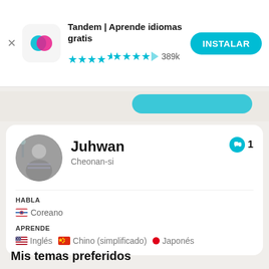[Figure (screenshot): App ad banner: Tandem | Aprende idiomas gratis app icon with overlapping cyan and pink circles, 4.5 star rating, 389k reviews, INSTALAR button]
Tandem | Aprende idiomas gratis
★★★★½ 389k
[Figure (photo): Circular profile photo of Juhwan, a person in a striped shirt outdoors with decorative lights in the background]
Juhwan
Cheonan-si
HABLA
🇰🇷 Coreano
APRENDE
🇺🇸 Inglés   🇨🇳 Chino (simplificado)   🔴 Japonés
Mis temas preferidos